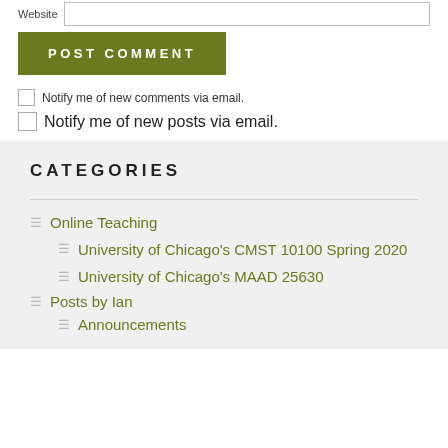[Figure (other): Website input field (partial, top of page)]
POST COMMENT
Notify me of new comments via email.
Notify me of new posts via email.
CATEGORIES
Online Teaching
University of Chicago's CMST 10100 Spring 2020
University of Chicago's MAAD 25630
Posts by Ian
Announcements